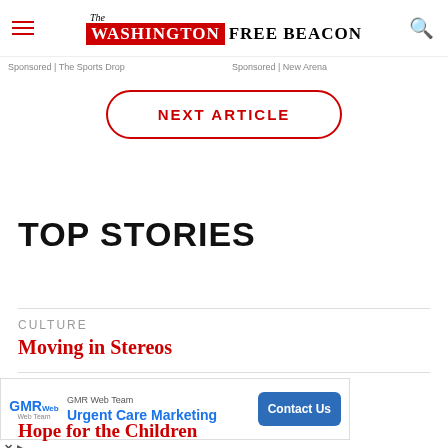The Washington Free Beacon
Sponsored | The Sports Drop   Sponsored | New Arena
NEXT ARTICLE
TOP STORIES
CULTURE
Moving in Stereos
[Figure (screenshot): GMR Web Team advertisement banner: Urgent Care Marketing with Contact Us button]
Hope for the Children